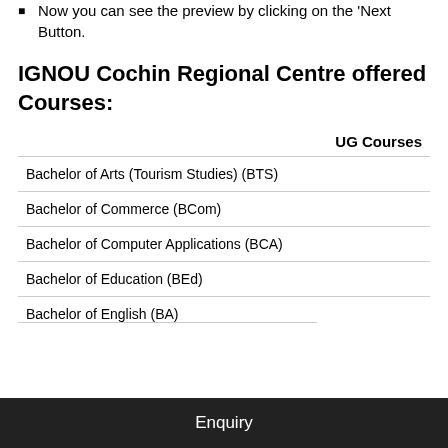Now you can see the preview by clicking on the 'Next Button.
IGNOU Cochin Regional Centre offered Courses:
|  | UG Courses |
| --- | --- |
| Bachelor of Arts (Tourism Studies) (BTS) |  |
| Bachelor of Commerce (BCom) |  |
| Bachelor of Computer Applications (BCA) |  |
| Bachelor of Education (BEd) |  |
| Bachelor of English (BA) |  |
Enquiry